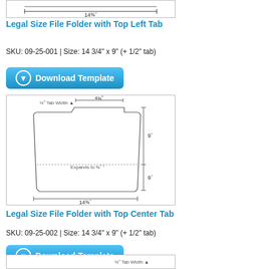[Figure (engineering-diagram): Top portion of file folder diagram showing 14¾" width dimension]
Legal Size File Folder with Top Left Tab
SKU: 09-25-001 | Size: 14 3/4" x 9" (+ 1/2" tab)
[Figure (other): Download Template button]
[Figure (engineering-diagram): Legal size file folder with top left tab diagram showing ½" Tab Width, 4¾" tab, 9" height x2, 14¾" width, and Expands to ⅝" notation]
Legal Size File Folder with Top Center Tab
SKU: 09-25-002 | Size: 14 3/4" x 9" (+ 1/2" tab)
[Figure (other): Download Template button]
[Figure (engineering-diagram): Bottom partial diagram showing ½" Tab Width label]